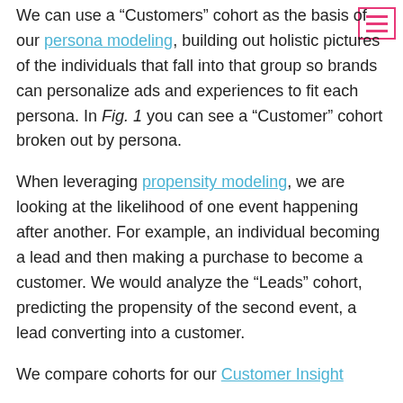We can use a “Customers” cohort as the basis of our persona modeling, building out holistic pictures of the individuals that fall into that group so brands can personalize ads and experiences to fit each persona. In Fig. 1 you can see a “Customer” cohort broken out by persona.
When leveraging propensity modeling, we are looking at the likelihood of one event happening after another. For example, an individual becoming a lead and then making a purchase to become a customer. We would analyze the “Leads” cohort, predicting the propensity of the second event, a lead converting into a customer.
We compare cohorts for our Customer Insight